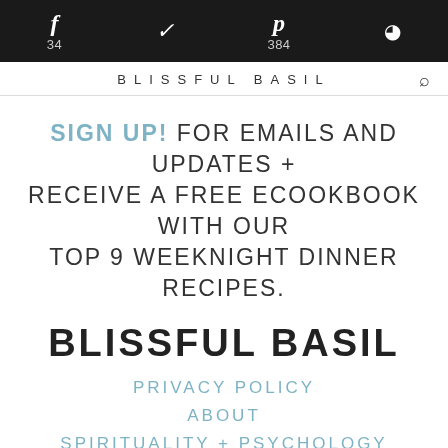f 34  [twitter]  p 384  [reddit]
BLISSFUL BASIL
SIGN UP! FOR EMAILS AND UPDATES + RECEIVE A FREE ECOOKBOOK WITH OUR TOP 9 WEEKNIGHT DINNER RECIPES.
BLISSFUL BASIL
PRIVACY POLICY
ABOUT
SPIRITUALITY + PSYCHOLOGY
RECIPE INDEX
CONTACT